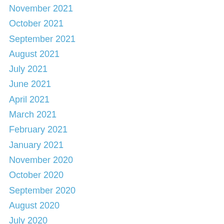November 2021
October 2021
September 2021
August 2021
July 2021
June 2021
April 2021
March 2021
February 2021
January 2021
November 2020
October 2020
September 2020
August 2020
July 2020
June 2020
May 2020
March 2020
February 2020
January 2020